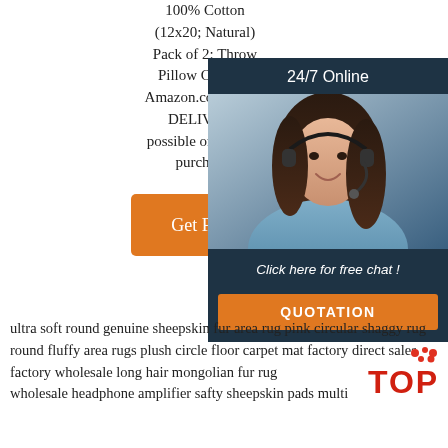100% Cotton (12x20; Natural) Pack of 2: Throw Pillow Covers - Amazon.com FREE DELIVERY possible on eligible purchases
[Figure (other): Orange 'Get Price' button]
[Figure (other): Right side banner with '24/7 Online' header, photo of woman with headset, 'Click here for free chat!' text, and orange QUOTATION button]
ultra soft round genuine sheepskin fur area rug pink circular shaggy rug round fluffy area rugs plush circle floor carpet mat factory direct sales factory wholesale long hair mongolian fur rug
wholesale headphone amplifier safty sheepskin pads multi
[Figure (logo): TOP logo with red dots]